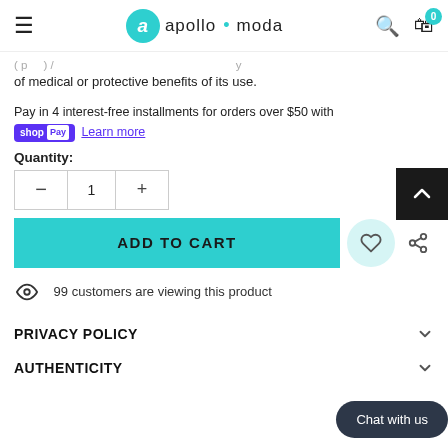apollo moda
of medical or protective benefits of its use.
Pay in 4 interest-free installments for orders over $50 with shop Pay  Learn more
Quantity:
ADD TO CART
99 customers are viewing this product
PRIVACY POLICY
AUTHENTICITY